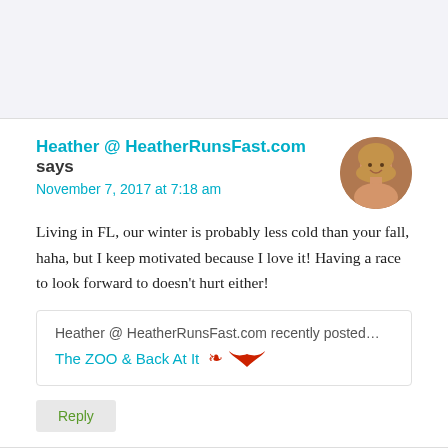[Figure (photo): Top banner area with light purple/gray background, likely an advertisement or image placeholder]
Heather @ HeatherRunsFast.com says
November 7, 2017 at 7:18 am
[Figure (photo): Circular avatar photo of a woman with long blonde hair, smiling]
Living in FL, our winter is probably less cold than your fall, haha, but I keep motivated because I love it! Having a race to look forward to doesn't hurt either!
Heather @ HeatherRunsFast.com recently posted…
The ZOO & Back At It 🦅
Reply